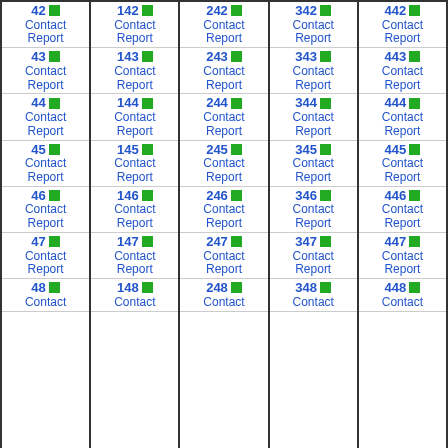42 Contact Report
142 Contact Report
242 Contact Report
342 Contact Report
442 Contact Report
43 Contact Report
143 Contact Report
243 Contact Report
343 Contact Report
443 Contact Report
44 Contact Report
144 Contact Report
244 Contact Report
344 Contact Report
444 Contact Report
45 Contact Report
145 Contact Report
245 Contact Report
345 Contact Report
445 Contact Report
46 Contact Report
146 Contact Report
246 Contact Report
346 Contact Report
446 Contact Report
47 Contact Report
147 Contact Report
247 Contact Report
347 Contact Report
447 Contact Report
48 Contact Report
148 Contact Report
248 Contact Report
348 Contact Report
448 Contact Report